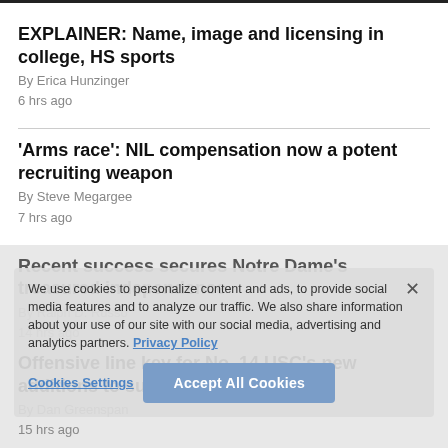EXPLAINER: Name, image and licensing in college, HS sports
By Erica Hunzinger
6 hrs ago
'Arms race': NIL compensation now a potent recruiting weapon
By Steve Megargee
7 hrs ago
Recent success secures Notre Dame's treasured independence
By Ralph D. Russo
14 hrs ago
Offensive line key for No. 14 USC's new additions to succeed
By Dan Greenspan
15 hrs ago
We use cookies to personalize content and ads, to provide social media features and to analyze our traffic. We also share information about your use of our site with our social media, advertising and analytics partners. Privacy Policy
Cookies Settings   Accept All Cookies